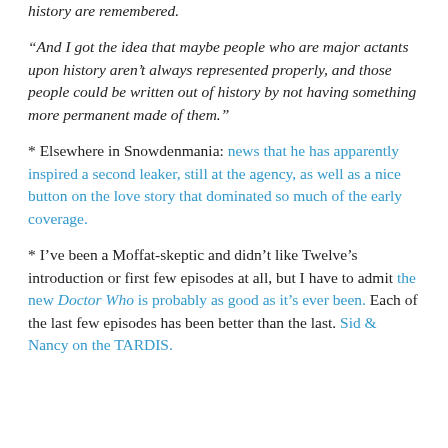history are remembered.
“And I got the idea that maybe people who are major actants upon history aren’t always represented properly, and those people could be written out of history by not having something more permanent made of them.”
* Elsewhere in Snowdenmania: news that he has apparently inspired a second leaker, still at the agency, as well as a nice button on the love story that dominated so much of the early coverage.
* I’ve been a Moffat-skeptic and didn’t like Twelve’s introduction or first few episodes at all, but I have to admit the new Doctor Who is probably as good as it’s ever been. Each of the last few episodes has been better than the last. Sid & Nancy on the TARDIS.